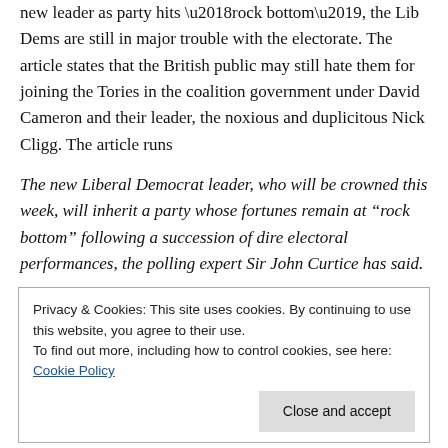new leader as party hits ‘rock bottom’, the Lib Dems are still in major trouble with the electorate. The article states that the British public may still hate them for joining the Tories in the coalition government under David Cameron and their leader, the noxious and duplicitous Nick Cligg. The article runs
The new Liberal Democrat leader, who will be crowned this week, will inherit a party whose fortunes remain at “rock bottom” following a succession of dire electoral performances, the polling expert Sir John Curtice has said.
Privacy & Cookies: This site uses cookies. By continuing to use this website, you agree to their use.
To find out more, including how to control cookies, see here: Cookie Policy
Lib Dems’ fifth leader in five years, with the victor facing